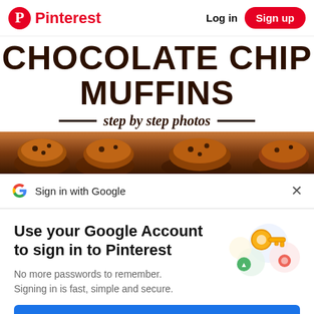Pinterest | Log in | Sign up
CHOCOLATE CHIP MUFFINS – step by step photos
[Figure (photo): Close-up photo of chocolate chip muffins with crumbly streusel topping]
Sign in with Google  ×
Use your Google Account to sign in to Pinterest
[Figure (illustration): Google key illustration with colorful circular icons representing security and sign-in]
No more passwords to remember. Signing in is fast, simple and secure.
Continue